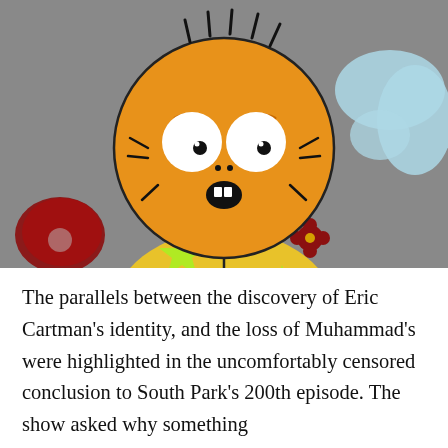[Figure (illustration): A South Park animated character with an orange/yellow round head, wide white eyes, wearing a yellow floral-patterned pajama shirt with green star and dark red flower designs. A red object is partially visible at lower left. The background is gray with a light blue cloud shape at upper right.]
The parallels between the discovery of Eric Cartman's identity, and the loss of Muhammad's were highlighted in the uncomfortably censored conclusion to South Park's 200th episode. The show asked why something